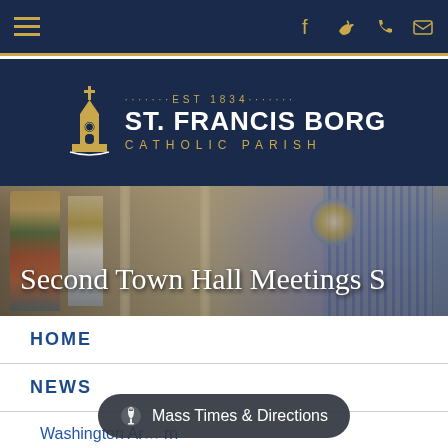Navigation bar with hamburger menu and social icons
[Figure (logo): St. Francis Borgia Catholic Parish logo with church steeple icon, EST 1834, parish name in white on navy background]
[Figure (photo): Interior of a cathedral showing stained glass windows, columns, organ pipes, and rose window with overlay text 'Second Town Hall Meetings S']
Second Town Hall Meetings S
HOME
NEWS
Washington Ar... rn
Mass Times & Directions